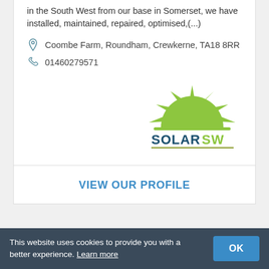in the South West from our base in Somerset, we have installed, maintained, repaired, optimised,(...)
Coombe Farm, Roundham, Crewkerne, TA18 8RR
01460279571
[Figure (logo): SolarSW logo: green sun semicircle with rays above, text SOLARSW in dark teal and green, underline in olive green]
VIEW OUR PROFILE
This website uses cookies to provide you with a better experience. Learn more